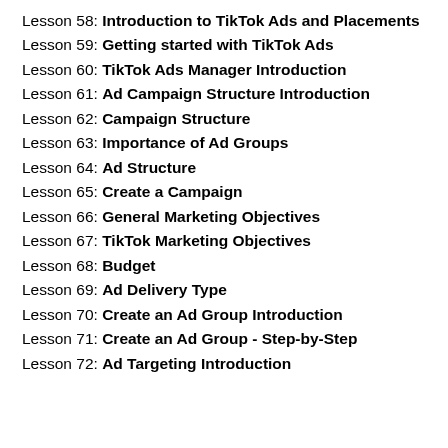Lesson 58: Introduction to TikTok Ads and Placements
Lesson 59: Getting started with TikTok Ads
Lesson 60: TikTok Ads Manager Introduction
Lesson 61: Ad Campaign Structure Introduction
Lesson 62: Campaign Structure
Lesson 63: Importance of Ad Groups
Lesson 64: Ad Structure
Lesson 65: Create a Campaign
Lesson 66: General Marketing Objectives
Lesson 67: TikTok Marketing Objectives
Lesson 68: Budget
Lesson 69: Ad Delivery Type
Lesson 70: Create an Ad Group Introduction
Lesson 71: Create an Ad Group - Step-by-Step
Lesson 72: Ad Targeting Introduction